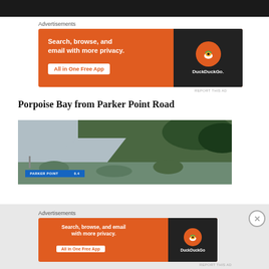[Figure (screenshot): Dark top image strip from a webpage]
Advertisements
[Figure (screenshot): DuckDuckGo advertisement banner: Search, browse, and email with more privacy. All in One Free App. Shows phone with DuckDuckGo logo.]
REPORT THIS AD
Porpoise Bay from Parker Point Road
[Figure (photo): Photograph of a road (Parker Point Road) with scrubby vegetation and a blue road sign reading PARKER POINT.]
Advertisements
[Figure (screenshot): DuckDuckGo advertisement banner (smaller): Search, browse, and email with more privacy. All in One Free App.]
REPORT THIS AD